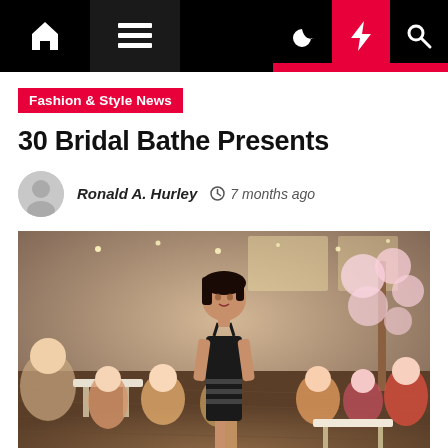Navigation bar with home, menu, dark mode, lightning, and search icons
Fashion & Style News
30 Bridal Bathe Presents
Ronald A. Hurley  7 months ago
[Figure (photo): A model in a black bandage midi dress walks a runway in a bright cafe/restaurant event space filled with seated guests. Cherry blossom branch décor visible on the right. Fairy lights hang from the ceiling.]